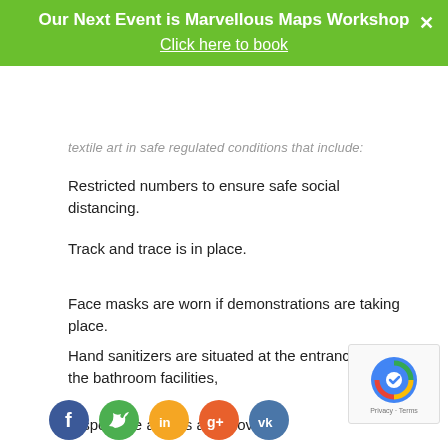Our Next Event is Marvellous Maps Workshop
Click here to book
textile art in safe regulated conditions that include:
Restricted numbers to ensure safe social distancing.
Track and trace is in place.
Face masks are worn if demonstrations are taking place.
Hand sanitizers are situated at the entrance and in the bathroom facilities,
Disposable aprons and gloves.
[Figure (infographic): Social media share icons: Facebook (blue), Twitter (teal/green), LinkedIn (orange), Google+ (red/orange), VK (blue)]